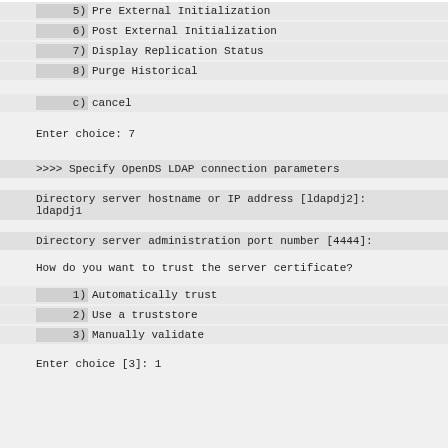5)  Pre External Initialization
6)  Post External Initialization
7)  Display Replication Status
8)  Purge Historical
c)  cancel
Enter choice: 7
>>>> Specify OpenDS LDAP connection parameters
Directory server hostname or IP address [ldapdj2]:
ldapdj1
Directory server administration port number [4444]:
How do you want to trust the server certificate?
1)  Automatically trust
2)  Use a truststore
3)  Manually validate
Enter choice [3]: 1